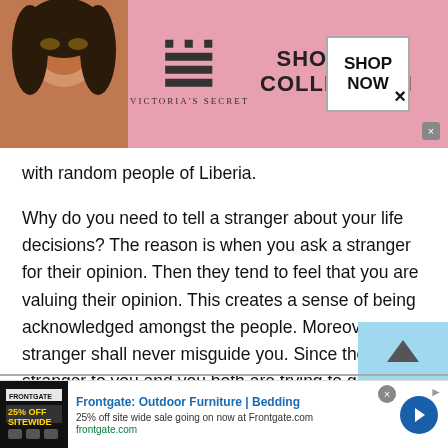[Figure (screenshot): Victoria's Secret advertisement banner with woman, VS logo, 'SHOP THE COLLECTION' text, and 'SHOP NOW' button on pink background]
with random people of Liberia.

Why do you need to tell a stranger about your life decisions? The reason is when you ask a stranger for their opinion. Then they tend to feel that you are valuing their opinion. This creates a sense of being acknowledged amongst the people. Moreover, a stranger shall never misguide you. Since they are a stranger to you and you both are trying to grow your social circle. By this simple mere act, you can easily
[Figure (screenshot): Frontgate: Outdoor Furniture | Bedding advertisement. 25% off site wide sale going on now at Frontgate.com]